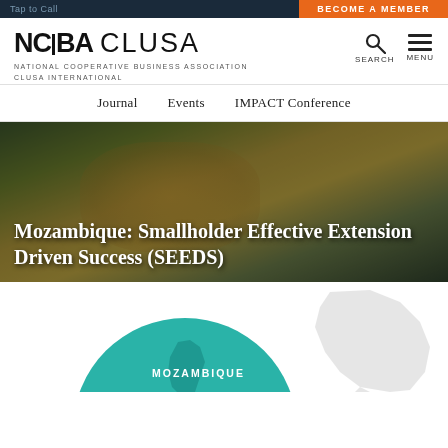Tap to Call | BECOME A MEMBER
[Figure (logo): NCBA CLUSA logo with NATIONAL COOPERATIVE BUSINESS ASSOCIATION CLUSA INTERNATIONAL subtitle]
NATIONAL COOPERATIVE BUSINESS ASSOCIATION CLUSA INTERNATIONAL
Journal   Events   IMPACT Conference
[Figure (photo): Hero image of a worker in yellow clothing working with wooden boards/frames, with dark overlay]
Mozambique: Smallholder Effective Extension Driven Success (SEEDS)
[Figure (infographic): Circular teal graphic with MOZAMBIQUE text and a map silhouette of Mozambique, with a grey map of Africa in the background]